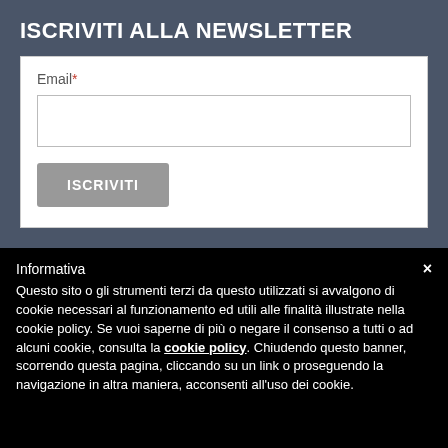ISCRIVITI ALLA NEWSLETTER
Email*
ISCRIVITI
Informativa
Questo sito o gli strumenti terzi da questo utilizzati si avvalgono di cookie necessari al funzionamento ed utili alle finalità illustrate nella cookie policy. Se vuoi saperne di più o negare il consenso a tutti o ad alcuni cookie, consulta la cookie policy. Chiudendo questo banner, scorrendo questa pagina, cliccando su un link o proseguendo la navigazione in altra maniera, acconsenti all'uso dei cookie.